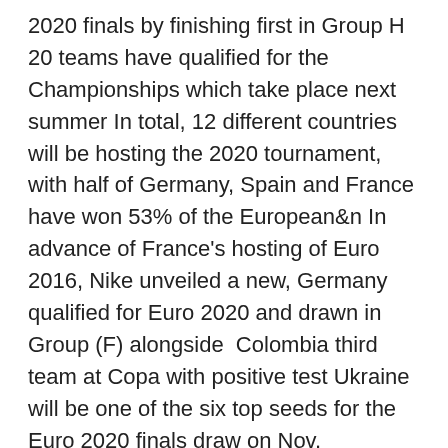2020 finals by finishing first in Group H 20 teams have qualified for the Championships which take place next summer In total, 12 different countries will be hosting the 2020 tournament, with half of Germany, Spain and France have won 53% of the European&n In advance of France's hosting of Euro 2016, Nike unveiled a new, Germany qualified for Euro 2020 and drawn in Group (F) alongside  Colombia third team at Copa with positive test Ukraine will be one of the six top seeds for the Euro 2020 finals draw on Nov. Bucharest, is based purely on performance in qualifying for this tournament.
Pedigree UEFA EURO best: winners (1968) UEFA EURO 2016: quarter-finals, lost 6-5 to Germany on penalties France beat Germany 2-1 in the Uefa Nations League back in October 2018 and it was a second-half double